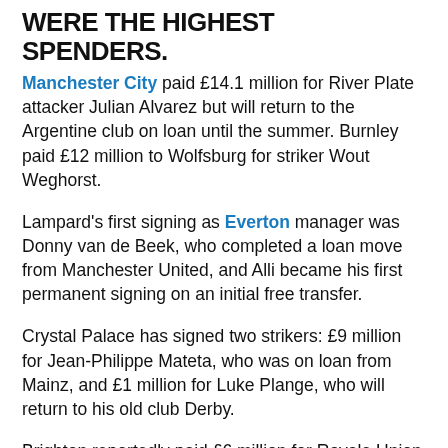WERE THE HIGHEST SPENDERS.
Manchester City paid £14.1 million for River Plate attacker Julian Alvarez but will return to the Argentine club on loan until the summer. Burnley paid £12 million to Wolfsburg for striker Wout Weghorst.
Lampard's first signing as Everton manager was Donny van de Beek, who completed a loan move from Manchester United, and Alli became his first permanent signing on an initial free transfer.
Crystal Palace has signed two strikers: £9 million for Jean-Philippe Mateta, who was on loan from Mainz, and £1 million for Luke Plange, who will return to his old club Derby.
Brighton reportedly paid £6 million for Royale Union Saint-Gilloise forward Deniz Unday, but he